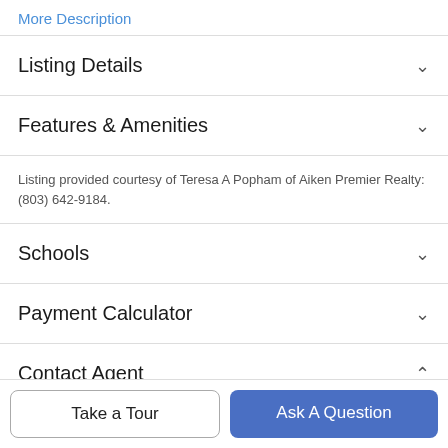More Description
Listing Details
Features & Amenities
Listing provided courtesy of Teresa A Popham of Aiken Premier Realty: (803) 642-9184.
Schools
Payment Calculator
Contact Agent
Take a Tour
Ask A Question